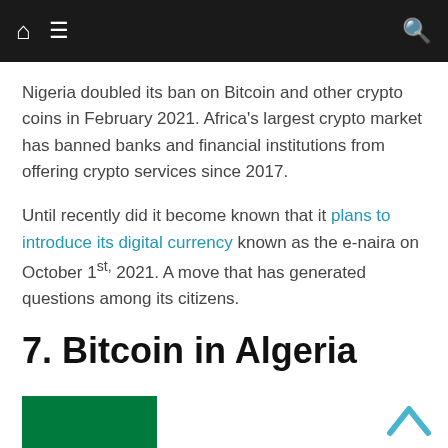Navigation bar with home icon, hamburger menu, and search icon
Nigeria doubled its ban on Bitcoin and other crypto coins in February 2021. Africa's largest crypto market has banned banks and financial institutions from offering crypto services since 2017.
Until recently did it become known that it plans to introduce its digital currency known as the e-naira on October 1st, 2021. A move that has generated questions among its citizens.
7. Bitcoin in Algeria
[Figure (photo): Partial view of the Algerian flag showing green and white vertical stripes]